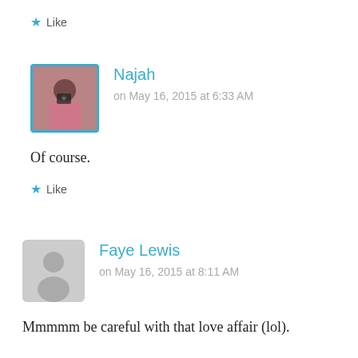★ Like
[Figure (photo): Avatar photo of Najah — a woman in a pink dress taking a selfie with a camera, framed with a teal border]
Najah
on May 16, 2015 at 6:33 AM
Of course.
★ Like
[Figure (illustration): Generic grey silhouette avatar for Faye Lewis]
Faye Lewis
on May 16, 2015 at 8:11 AM
Mmmmm be careful with that love affair (lol).